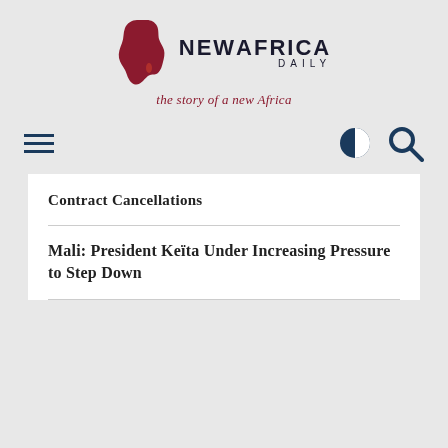[Figure (logo): New Africa Daily logo with Africa map silhouette in dark red and text NEW AFRICA DAILY]
the story of a new Africa
[Figure (other): Navigation bar with hamburger menu icon on left and contrast/search icons on right]
Contract Cancellations
Mali: President Keïta Under Increasing Pressure to Step Down